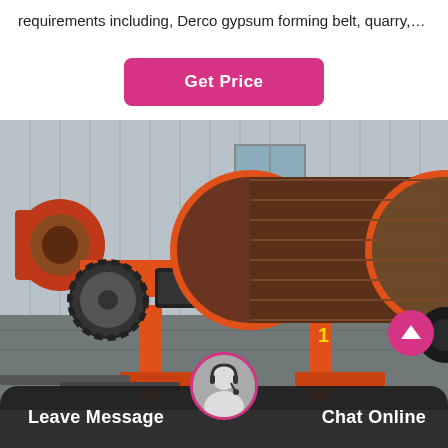requirements including, Derco gypsum forming belt, quarry,…
[Figure (other): Pink/magenta rounded rectangle button labeled 'Get Price']
[Figure (photo): Industrial ball mill or drum machine with orange painted steel frame and large cylindrical drum, photographed outdoors in a manufacturing/industrial yard with corrugated metal building in background. Machine has gear wheel visible on left side and motor drive assembly.]
[Figure (other): Pink arrow-up circle button in bottom right area of photo]
Leave Message   Chat Online